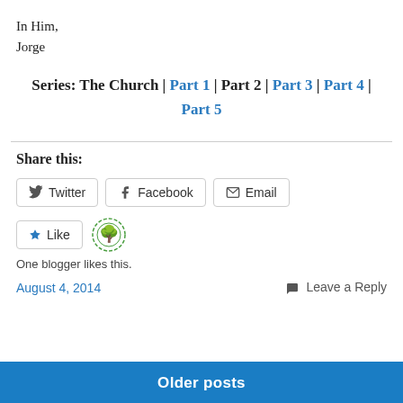In Him,
Jorge
Series: The Church | Part 1 | Part 2 | Part 3 | Part 4 | Part 5
Share this:
Twitter   Facebook   Email
Like
One blogger likes this.
August 4, 2014
Leave a Reply
Older posts